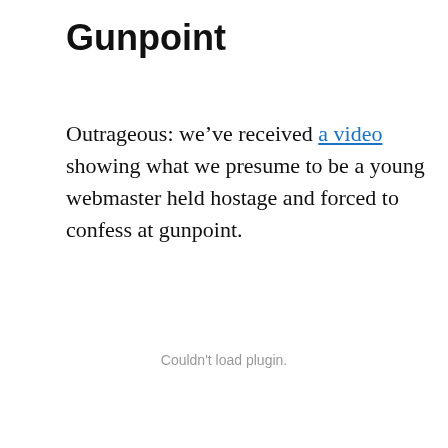Gunpoint
Outrageous: we’ve received a video showing what we presume to be a young webmaster held hostage and forced to confess at gunpoint.
Couldn't load plugin.